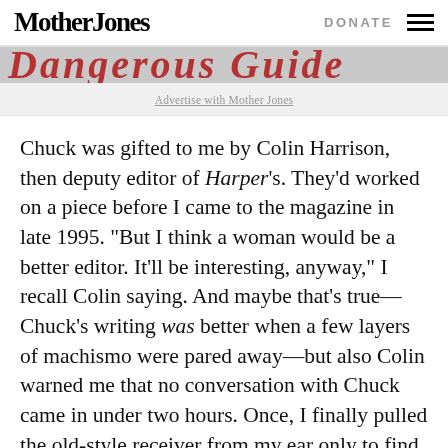Mother Jones | DONATE
[Figure (other): Partial banner image with large decorative red text on grey background, partially cropped]
Advertise with Mother Jones
Chuck was gifted to me by Colin Harrison, then deputy editor of Harper’s. They’d worked on a piece before I came to the magazine in late 1995. “But I think a woman would be a better editor. It’ll be interesting, anyway,” I recall Colin saying. And maybe that’s true—Chuck’s writing was better when a few layers of machismo were pared away—but also Colin warned me that no conversation with Chuck came in under two hours. Once, I finally pulled the old-style receiver from my ear only to find that a